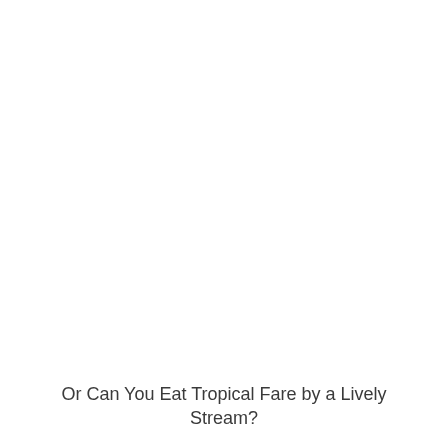Or Can You Eat Tropical Fare by a Lively Stream?